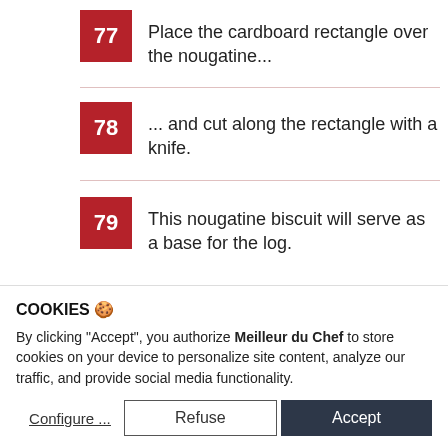77 Place the cardboard rectangle over the nougatine...
78 ... and cut along the rectangle with a knife.
79 This nougatine biscuit will serve as a base for the log.
80 [partially visible] Place the nougatine rectangle on a [cut off]
COOKIES 🍪
By clicking "Accept", you authorize Meilleur du Chef to store cookies on your device to personalize site content, analyze our traffic, and provide social media functionality.
Configure ... | Refuse | Accept